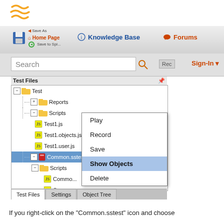[Figure (screenshot): Software logo with orange wave lines]
[Figure (screenshot): Navigation bar with Home Page, Knowledge Base, Forums tabs, Search box, Sign-In button, file tree panel showing Test/Scripts/Common.sstest hierarchy with right-click context menu showing Play, Record, Save, Show Objects (highlighted), Delete options, and Test Files/Settings/Object Tree tabs at bottom]
If you right-click on the "Common.sstest" icon and choose